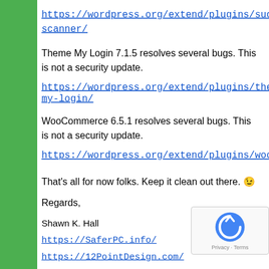https://wordpress.org/extend/plugins/sucuri-scanner/
Theme My Login 7.1.5 resolves several bugs. This is not a security update.
https://wordpress.org/extend/plugins/theme-my-login/
WooCommerce 6.5.1 resolves several bugs. This is not a security update.
https://wordpress.org/extend/plugins/woocommerce/
That's all for now folks. Keep it clean out there. 😉
Regards,
Shawn K. Hall
https://SaferPC.info/
https://12PointDesign.com/
Posted in Updates | Tagged agent ransack, android studio, AnyDesk, Aomei Partition Assistant, apple, avast, brave, buddypress, Calibre, ccleaner, chrome, Chrome OS, curl, cygwin, dnGrep, DNSDataView, dropbox, drupal, dvdfab,